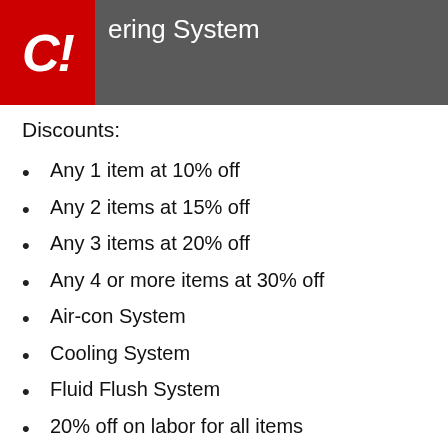ering System
[Figure (logo): Red logo box with white stylized 'C!' text in italic bold]
Discounts:
Any 1 item at 10% off
Any 2 items at 15% off
Any 3 items at 20% off
Any 4 or more items at 30% off
Air-con System
Cooling System
Fluid Flush System
20% off on labor for all items